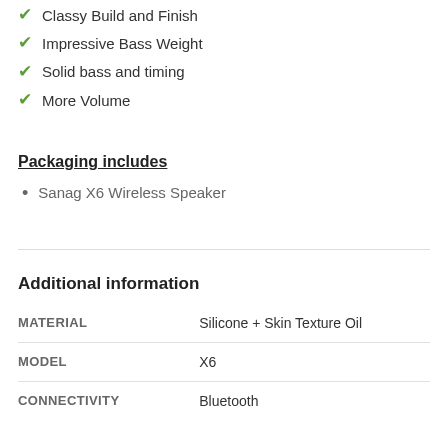Classy Build and Finish
Impressive Bass Weight
Solid bass and timing
More Volume
Packaging includes
Sanag X6 Wireless Speaker
Additional information
|  |  |
| --- | --- |
| MATERIAL | Silicone + Skin Texture Oil |
| MODEL | X6 |
| CONNECTIVITY | Bluetooth |